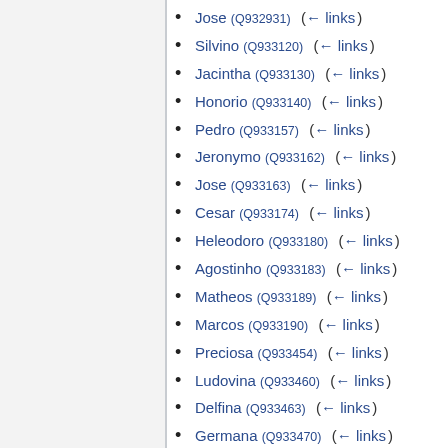Jose (Q932931)  (← links)
Silvino (Q933120)  (← links)
Jacintha (Q933130)  (← links)
Honorio (Q933140)  (← links)
Pedro (Q933157)  (← links)
Jeronymo (Q933162)  (← links)
Jose (Q933163)  (← links)
Cesar (Q933174)  (← links)
Heleodoro (Q933180)  (← links)
Agostinho (Q933183)  (← links)
Matheos (Q933189)  (← links)
Marcos (Q933190)  (← links)
Preciosa (Q933454)  (← links)
Ludovina (Q933460)  (← links)
Delfina (Q933463)  (← links)
Germana (Q933470)  (← links)
Eduarda (Q933515)  (← links)
Eleuterio (Q933535)  (← links)
Affonso (Q933791)  (← links)